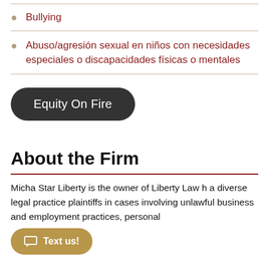Bullying
Abuso/agresión sexual en niños con necesidades especiales o discapacidades físicas o mentales
Equity On Fire
About the Firm
Micha Star Liberty is the owner of Liberty Law h a diverse legal practice plaintiffs in cases involving unlawful business and employment practices, personal
Text us!